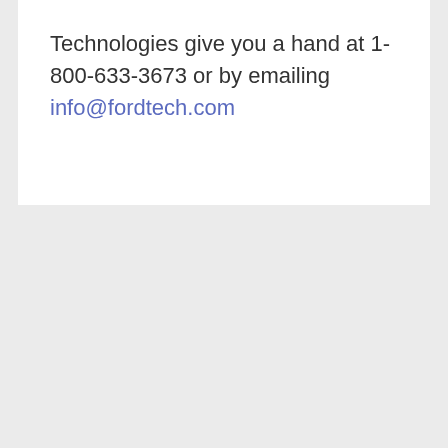Technologies give you a hand at 1-800-633-3673 or by emailing info@fordtech.com